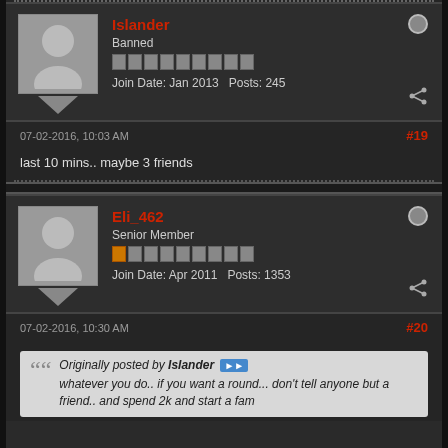[Figure (screenshot): Forum post by user 'Islander' (Banned), joined Jan 2013, 245 posts. Post #19 dated 07-02-2016, 10:03 AM. Content: 'last 10 mins.. maybe 3 friends']
[Figure (screenshot): Forum post by user 'Eli_462' (Senior Member), joined Apr 2011, 1353 posts. Post #20 dated 07-02-2016, 10:30 AM. Quotes Islander: 'whatever you do.. if you want a round... don't tell anyone but a friend.. and spend 2k and start a fam']